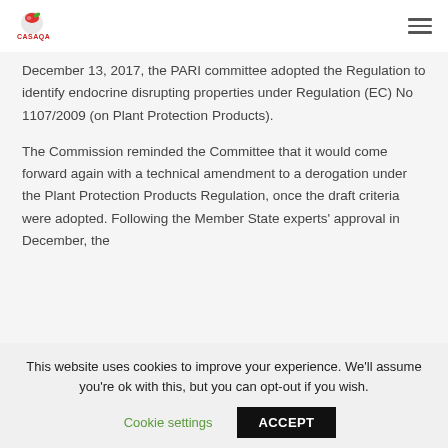CASAQA [logo] [hamburger menu]
December 13, 2017, the PARI committee adopted the Regulation to identify endocrine disrupting properties under Regulation (EC) No 1107/2009 (on Plant Protection Products).
The Commission reminded the Committee that it would come forward again with a technical amendment to a derogation under the Plant Protection Products Regulation, once the draft criteria were adopted. Following the Member State experts' approval in December, the
This website uses cookies to improve your experience. We'll assume you're ok with this, but you can opt-out if you wish.
Cookie settings  ACCEPT